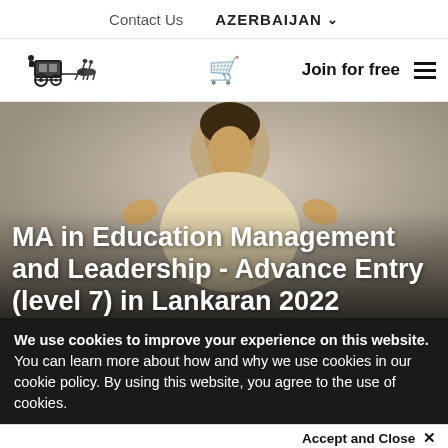Contact Us    AZERBAIJAN ▾
[Figure (logo): Horse-drawn carriage logo (black illustration)]
Join for free  ≡
[Figure (photo): Woman with curly hair raising hands, smiling, against light background. Overlaid title: MA in Education Management and Leadership - Advance Entry (level 7) in Lankaran 2022]
MA in Education Management and Leadership - Advance Entry (level 7) in Lankaran 2022
We use cookies to improve your experience on this website. You can learn more about how and why we use cookies in our cookie policy. By using this website, you agree to the use of cookies.
Accept and Close ✕
Your browser settings do not allow cross-site tracking for advertising. Click on this page to allow AdRoll to use cross-site tracking to tailor ads to you. Learn more or opt out of this AdRoll tracking by clicking here. This message only appears once.